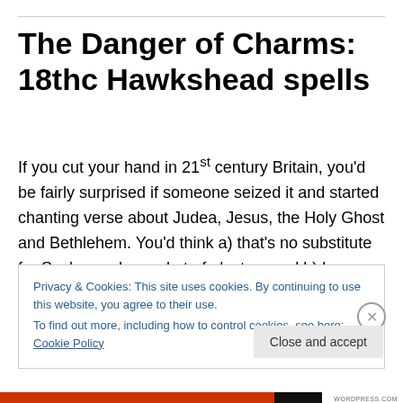The Danger of Charms: 18thc Hawkshead spells
If you cut your hand in 21st century Britain, you'd be fairly surprised if someone seized it and started chanting verse about Judea, Jesus, the Holy Ghost and Bethlehem. You'd think a) that's no substitute for Savlon and a packet of plasters and b) how extraordinarily devout. And yet for much of the 16th and 17th centuries, what sounds like a
Privacy & Cookies: This site uses cookies. By continuing to use this website, you agree to their use.
To find out more, including how to control cookies, see here: Cookie Policy